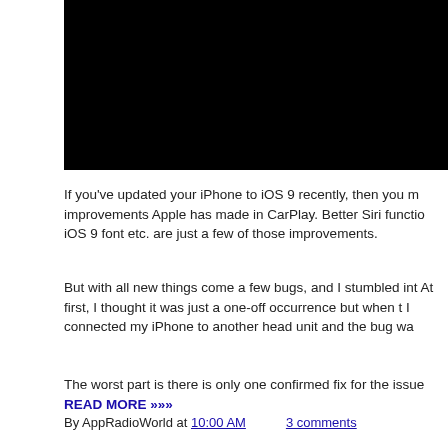[Figure (photo): Black rectangle image placeholder at top of page]
If you've updated your iPhone to iOS 9 recently, then you m improvements Apple has made in CarPlay. Better Siri functio iOS 9 font etc. are just a few of those improvements.
But with all new things come a few bugs, and I stumbled int At first, I thought it was just a one-off occurrence but when I connected my iPhone to another head unit and the bug wa
The worst part is there is only one confirmed fix for the issu READ MORE »»»
By AppRadioWorld at 10:00 AM  3 comments